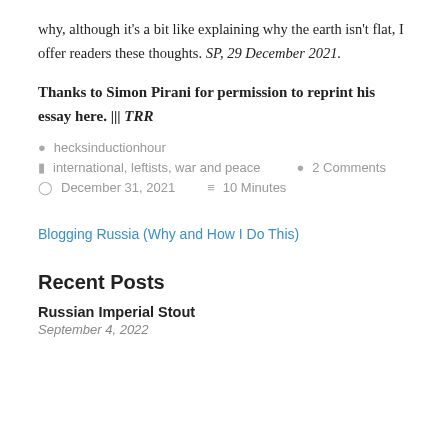why, although it’s a bit like explaining why the earth isn’t flat, I offer readers these thoughts. SP, 29 December 2021.
Thanks to Simon Pirani for permission to reprint his essay here. ||| TRR
hecksinductionhour
international, leftists, war and peace   2 Comments
December 31, 2021   10 Minutes
Blogging Russia (Why and How I Do This)
Recent Posts
Russian Imperial Stout
September 4, 2022